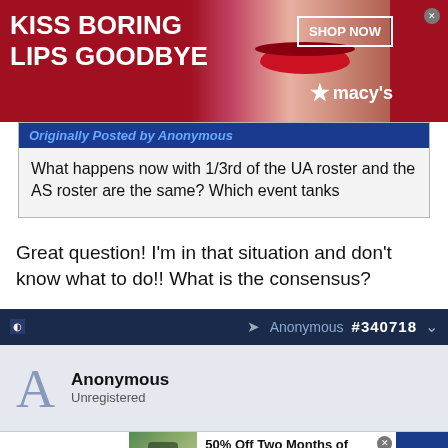[Figure (photo): Macy's advertisement banner: 'KISS BORING LIPS GOODBYE' with woman's face and red lips, SHOP NOW button and Macy's star logo]
Originally Posted by Anonymous
What happens now with 1/3rd of the UA roster and the AS roster are the same? Which event tanks
Great question! I'm in that situation and don't know what to do!! What is the consensus?
Anonymous #340718
Anonymous
Unregistered
[Figure (photo): SmartPak advertisement banner: '50% Off Two Months of ColiCare, ColiCare Eligible Supplements, CODE: COLICARE10' with horse and rider image, Shop Now button]